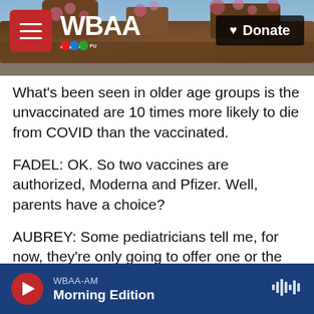[Figure (screenshot): WBAA NPR radio station website header with logo, hamburger menu button, and Donate button, with tree/nature background photo]
What's been seen in older age groups is the unvaccinated are 10 times more likely to die from COVID than the vaccinated.
FADEL: OK. So two vaccines are authorized, Moderna and Pfizer. Well, parents have a choice?
AUBREY: Some pediatricians tell me, for now, they're only going to offer one or the other just to simplify administration.
FADEL: OK.
AUBREY: So parents should not be surprised if they
WBAA-AM  Morning Edition